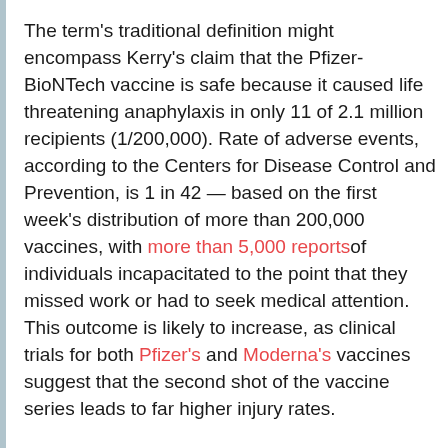The term's traditional definition might encompass Kerry's claim that the Pfizer-BioNTech vaccine is safe because it caused life threatening anaphylaxis in only 11 of 2.1 million recipients (1/200,000). Rate of adverse events, according to the Centers for Disease Control and Prevention, is 1 in 42 — based on the first week's distribution of more than 200,000 vaccines, with more than 5,000 reports of individuals incapacitated to the point that they missed work or had to seek medical attention. This outcome is likely to increase, as clinical trials for both Pfizer's and Moderna's vaccines suggest that the second shot of the vaccine series leads to far higher injury rates.
Pfizer's mRNA vaccines use a novel vaccine